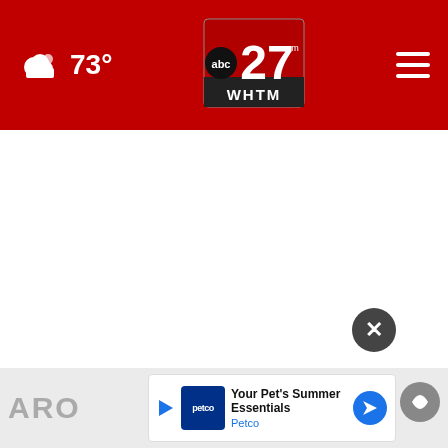abc27.com WHTM — 73° weather, navigation header
[Figure (screenshot): Large white blank area (advertisement loading zone)]
[Figure (logo): Petco advertisement banner: 'Your Pet's Summer Essentials Petco']
ARO
[Figure (other): Taboola/sponsored content circle logo in bottom right]